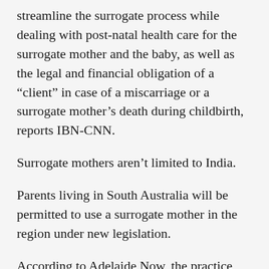streamline the surrogate process while dealing with post-natal health care for the surrogate mother and the baby, as well as the legal and financial obligation of a “client” in case of a miscarriage or a surrogate mother’s death during childbirth, reports IBN-CNN.
Surrogate mothers aren’t limited to India.
Parents living in South Australia will be permitted to use a surrogate mother in the region under new legislation.
According to Adelaide Now, the practice has been legalized after reports that couples were traveling to the Australian Capital Territory to have it done.